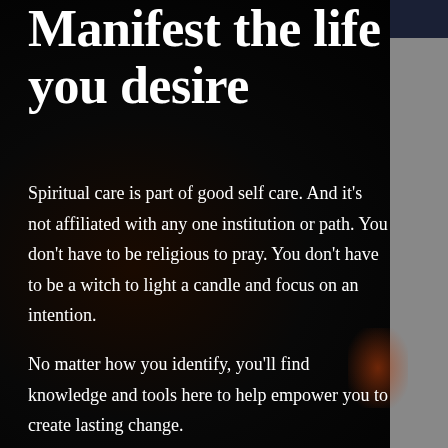Manifest the life you desire
Spiritual care is part of good self care. And it's not affiliated with any one institution or path. You don't have to be religious to pray. You don't have to be a witch to light a candle and focus on an intention.
No matter how you identify, you'll find knowledge and tools here to help empower you to create lasting change.